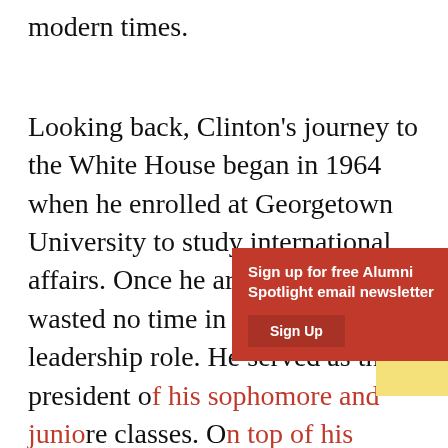modern times.
Looking back, Clinton's journey to the White House began in 1964 when he enrolled at Georgetown University to study international affairs. Once he arrived, Clinton wasted no time in assuming a leadership role. He served as the president of his sophomore and junior classes. On top of his studies and part-time jobs, he also worked as an intern in the office of Arkansas Senator J. William Fulbright. There he learned how government worked and what it was like to be a politician. An excellent student his whole life, Clinton's undergraduate
[Figure (screenshot): Red popup overlay with text 'Sign up for free Alumni Spotlight email newsletter' and a 'Sign Up' button]